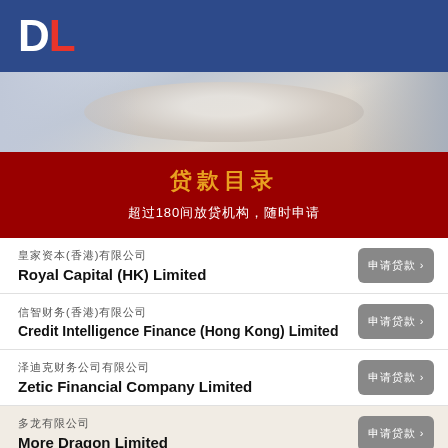DL
[Figure (photo): Blurred office conference room background photo strip]
贷款目
超过180间放贷机构，随时申请
皇家资本(香港)有限公司 / Royal Capital (HK) Limited
信智财务(香港)有限公司 / Credit Intelligence Finance (Hong Kong) Limited
泽迪克财务公司有限公司 / Zetic Financial Company Limited
多龙有限公司 / More Dragon Limited
红兔财务有限公司 / Red Rabbit Finance Limited
更多公司...